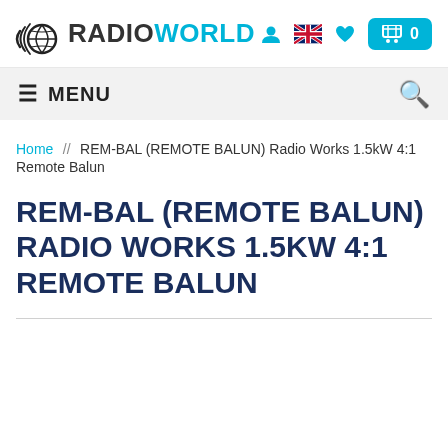RADIO WORLD
MENU
Home // REM-BAL (REMOTE BALUN) Radio Works 1.5kW 4:1 Remote Balun
REM-BAL (REMOTE BALUN) RADIO WORKS 1.5KW 4:1 REMOTE BALUN